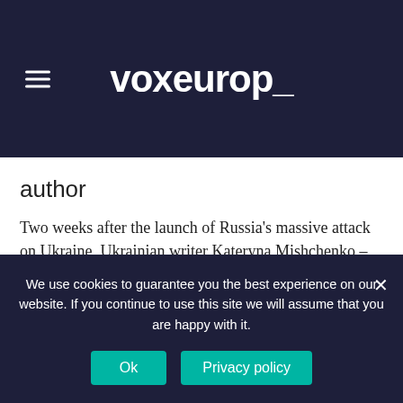voxeurop_
author
Two weeks after the launch of Russia's massive attack on Ukraine, Ukrainian writer Kateryna Mishchenko – who had to flee Kyiv – shared her thoughts with our readers and with Sergey Lebedev, a veteran Putin opponent.
Go to the event >
We use cookies to guarantee you the best experience on our website. If you continue to use this site we will assume that you are happy with it.
Ok
Privacy policy